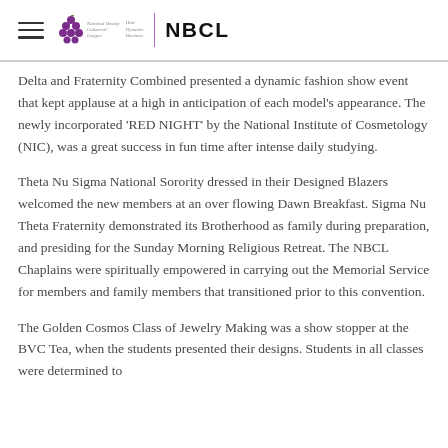National Beauty Culturists' League | NBCL
Delta and Fraternity Combined presented a dynamic fashion show event that kept applause at a high in anticipation of each model's appearance. The newly incorporated 'RED NIGHT' by the National Institute of Cosmetology (NIC), was a great success in fun time after intense daily studying.
Theta Nu Sigma National Sorority dressed in their Designed Blazers welcomed the new members at an over flowing Dawn Breakfast. Sigma Nu Theta Fraternity demonstrated its Brotherhood as family during preparation, and presiding for the Sunday Morning Religious Retreat. The NBCL Chaplains were spiritually empowered in carrying out the Memorial Service for members and family members that transitioned prior to this convention.
The Golden Cosmos Class of Jewelry Making was a show stopper at the BVC Tea, when the students presented their designs. Students in all classes were determined to